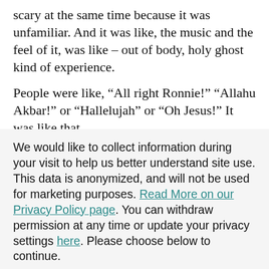scary at the same time because it was unfamiliar. And it was like, the music and the feel of it, was like – out of body, holy ghost kind of experience.
People were like, “All right Ronnie!” “Allahu Akbar!” or “Hallelujah” or “Oh Jesus!” It was like that.
We would like to collect information during your visit to help us better understand site use. This data is anonymized, and will not be used for marketing purposes. Read More on our Privacy Policy page. You can withdraw permission at any time or update your privacy settings here. Please choose below to continue.
Yes, I agree
No, Please do not